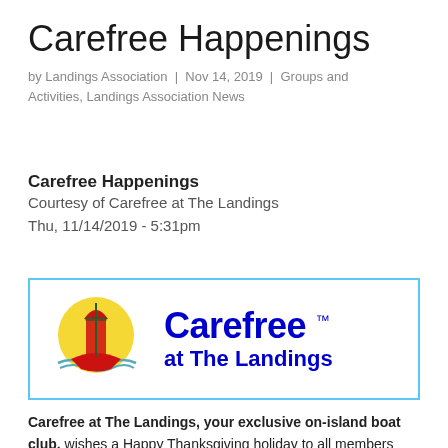Carefree Happenings
by Landings Association | Nov 14, 2019 | Groups and Activities, Landings Association News
Carefree Happenings
Courtesy of Carefree at The Landings
Thu, 11/14/2019 - 5:31pm
[Figure (logo): Carefree at The Landings logo: a red sailboat against a yellow sun circle on the left, and 'Carefree ™ at The Landings' text in blue on the right, enclosed in a light blue border]
Carefree at The Landings, your exclusive on-island boat club, wishes a Happy Thanksgiving holiday to all members and encourages all residents to The...